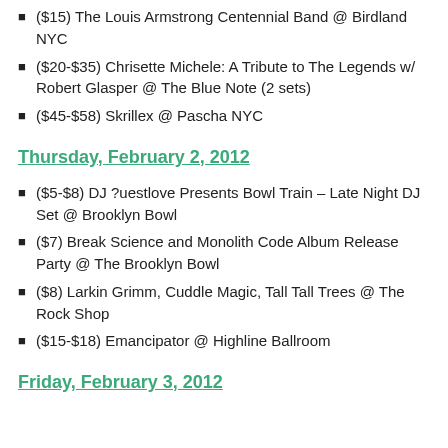($15) The Louis Armstrong Centennial Band @ Birdland NYC
($20-$35) Chrisette Michele: A Tribute to The Legends w/ Robert Glasper @ The Blue Note (2 sets)
($45-$58) Skrillex @ Pascha NYC
Thursday, February 2, 2012
($5-$8) DJ ?uestlove Presents Bowl Train – Late Night DJ Set @ Brooklyn Bowl
($7) Break Science and Monolith Code Album Release Party @ The Brooklyn Bowl
($8) Larkin Grimm, Cuddle Magic, Tall Tall Trees @ The Rock Shop
($15-$18) Emancipator @ Highline Ballroom
Friday, February 3, 2012